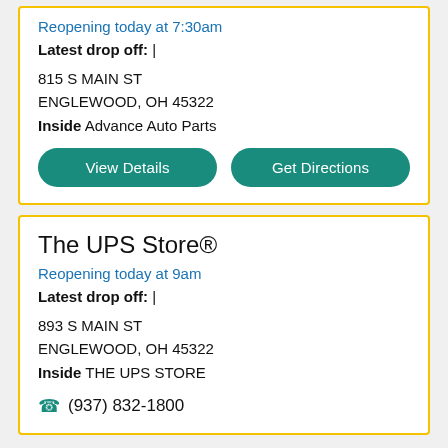Reopening today at 7:30am
Latest drop off: |
815 S MAIN ST
ENGLEWOOD, OH 45322
Inside Advance Auto Parts
View Details
Get Directions
The UPS Store®
Reopening today at 9am
Latest drop off: |
893 S MAIN ST
ENGLEWOOD, OH 45322
Inside THE UPS STORE
(937) 832-1800